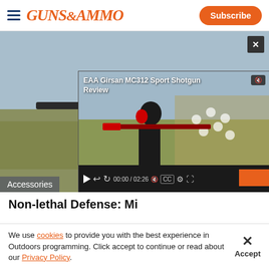GUNS&AMMO | Subscribe
[Figure (screenshot): Man shooting a rifle outdoors in a field, wearing dark clothing, with play button overlay. Video thumbnail for firearms review content.]
Accessories
[Figure (screenshot): Floating video popup showing 'EAA Girsan MC312 Sport Shotgun Review' with a man shooting a shotgun outdoors, video controls showing 00:00 / 02:26]
Non-lethal Defense: Mi
We use cookies to provide you with the best experience in Outdoors programming. Click accept to continue or read about our Privacy Policy.